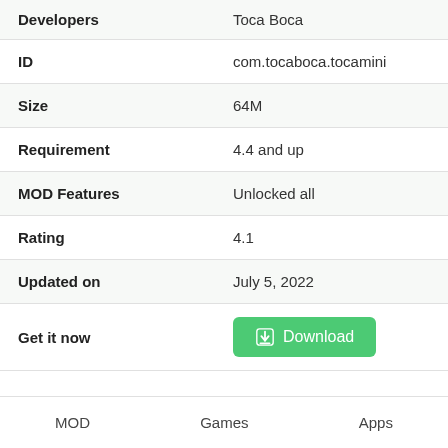| Field | Value |
| --- | --- |
| Developers | Toca Boca |
| ID | com.tocaboca.tocamini |
| Size | 64M |
| Requirement | 4.4 and up |
| MOD Features | Unlocked all |
| Rating | 4.1 |
| Updated on | July 5, 2022 |
| Get it now | Download |
MOD   Games   Apps